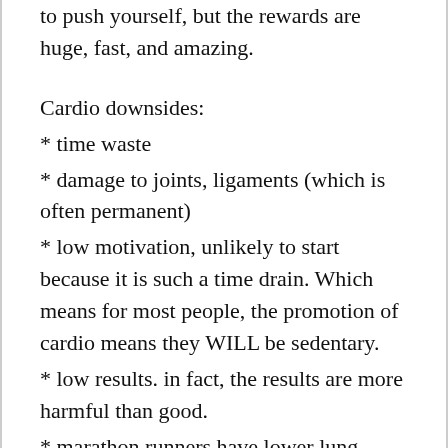to push yourself, but the rewards are huge, fast, and amazing.
Cardio downsides:
* time waste
* damage to joints, ligaments (which is often permanent)
* low motivation, unlikely to start because it is such a time drain. Which means for most people, the promotion of cardio means they WILL be sedentary.
* low results. in fact, the results are more harmful than good.
* marathon runners have lower lung capacity and smaller heart and weaker immune system than sedentary people. Is actually worse than being sedentary and like being sedentary, increases